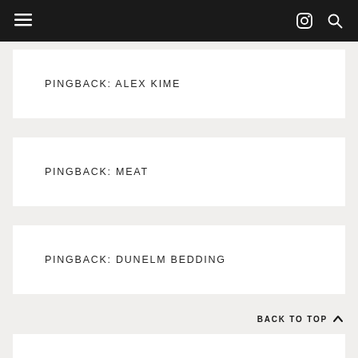Navigation bar with menu, Instagram, and search icons
PINGBACK: ALEX KIME
PINGBACK: MEAT
PINGBACK: DUNELM BEDDING
BACK TO TOP